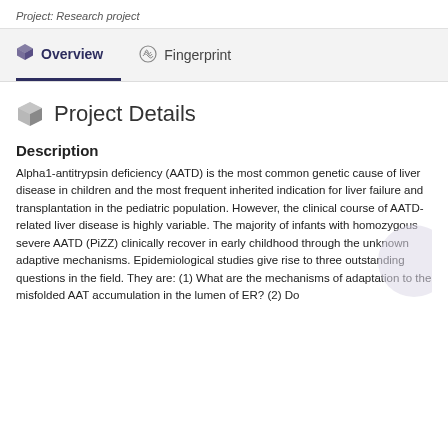Project: Research project
Overview   Fingerprint
Project Details
Description
Alpha1-antitrypsin deficiency (AATD) is the most common genetic cause of liver disease in children and the most frequent inherited indication for liver failure and transplantation in the pediatric population. However, the clinical course of AATD-related liver disease is highly variable. The majority of infants with homozygous severe AATD (PiZZ) clinically recover in early childhood through the unknown adaptive mechanisms. Epidemiological studies give rise to three outstanding questions in the field. They are: (1) What are the mechanisms of adaptation to the misfolded AAT accumulation in the lumen of ER? (2) Do